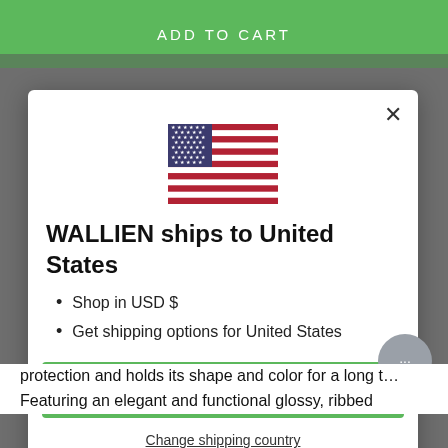ADD TO CART
[Figure (illustration): US flag icon]
WALLIEN ships to United States
Shop in USD $
Get shipping options for United States
Shop now
Change shipping country
protection and holds its shape and color for a long t…
Featuring an elegant and functional glossy, ribbed